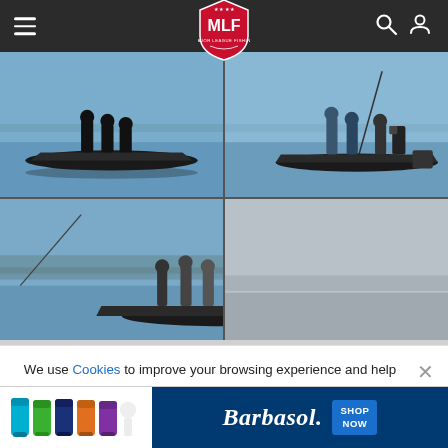[Figure (screenshot): MLF (Major League Fishing) website navigation bar with hamburger menu on left, MLF shield logo in center, search and user icons on right, dark background]
[Figure (photo): Four-panel photo grid showing fishing tournament scenes on water: anglers on bass boats, handling fish, with cameras/crew present, blue-toned water and sky]
We use Cookies to improve your browsing experience and help us improve our website. Our Privacy Policy and Terms of Service have changed. Click OK to agree.
[Figure (screenshot): Red OK button for cookie consent dialog]
[Figure (screenshot): Barbasol advertisement banner showing colorful shaving cream cans on left and Barbasol logo with SHOP NOW button on blue background]